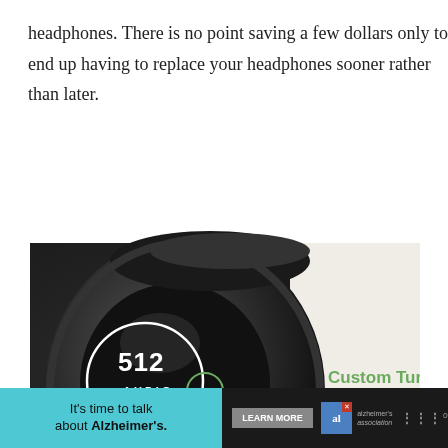headphones. There is no point saving a few dollars only to end up having to replace your headphones sooner rather than later.
[Figure (photo): Close-up photo of a 512 Audio headphone showing two callout labels: 'Custom Tuned Drivers' pointing to the driver area of the earcup, and 'Detachable Cable' pointing to the cable connector at the bottom. The Home DJ Studio logo appears in the lower right corner with tagline 'Master Your Mixing'.]
[Figure (photo): Advertisement banner: 'It's time to talk about Alzheimer's.' with a Learn More button, Alzheimer's Association logo, and a partially visible logo on the right. Cyan/teal background on left portion, dark background on right.]